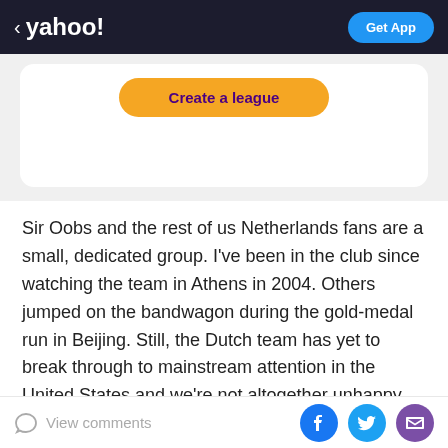< yahoo!  Get App
[Figure (screenshot): Card with 'Create a league' orange button on white card with rounded corners]
Sir Oobs and the rest of us Netherlands fans are a small, dedicated group. I've been in the club since watching the team in Athens in 2004. Others jumped on the bandwagon during the gold-medal run in Beijing. Still, the Dutch team has yet to break through to mainstream attention in the United States and we're not altogether unhappy about it. You never want to see your favorite indie band go big, you know? Next thing you know it'll be doing commercials for Heineken and wearing wooden
View comments  [Facebook] [Twitter] [Mail]